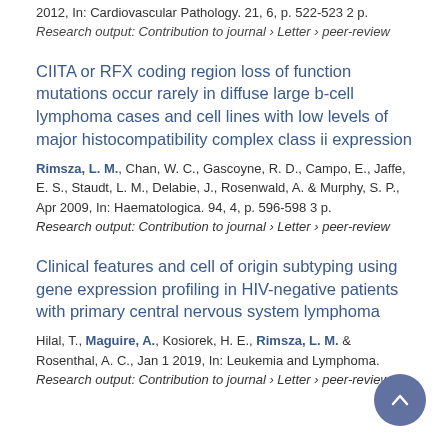2012, In: Cardiovascular Pathology. 21, 6, p. 522-523 2 p.
Research output: Contribution to journal › Letter › peer-review
CIITA or RFX coding region loss of function mutations occur rarely in diffuse large b-cell lymphoma cases and cell lines with low levels of major histocompatibility complex class ii expression
Rimsza, L. M., Chan, W. C., Gascoyne, R. D., Campo, E., Jaffe, E. S., Staudt, L. M., Delabie, J., Rosenwald, A. & Murphy, S. P., Apr 2009, In: Haematologica. 94, 4, p. 596-598 3 p.
Research output: Contribution to journal › Letter › peer-review
Clinical features and cell of origin subtyping using gene expression profiling in HIV-negative patients with primary central nervous system lymphoma
Hilal, T., Maguire, A., Kosiorek, H. E., Rimsza, L. M. & Rosenthal, A. C., Jan 1 2019, In: Leukemia and Lymphoma.
Research output: Contribution to journal › Letter › peer-review